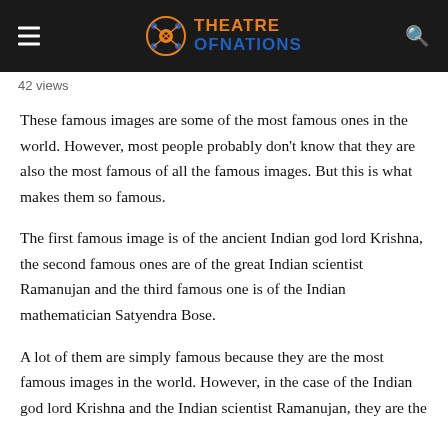Theatre of Nations
42 views
These famous images are some of the most famous ones in the world. However, most people probably don't know that they are also the most famous of all the famous images. But this is what makes them so famous.
The first famous image is of the ancient Indian god lord Krishna, the second famous ones are of the great Indian scientist Ramanujan and the third famous one is of the Indian mathematician Satyendra Bose.
A lot of them are simply famous because they are the most famous images in the world. However, in the case of the Indian god lord Krishna and the Indian scientist Ramanujan, they are the